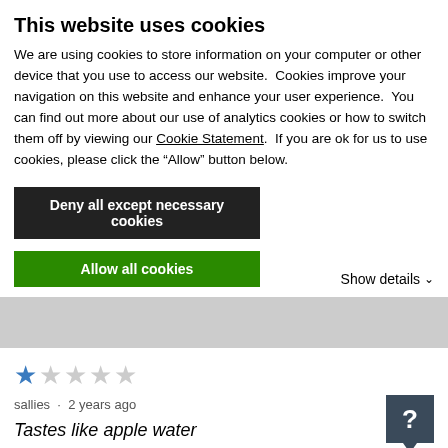This website uses cookies
We are using cookies to store information on your computer or other device that you use to access our website.  Cookies improve your navigation on this website and enhance your user experience.  You can find out more about our use of analytics cookies or how to switch them off by viewing our Cookie Statement.  If you are ok for us to use cookies, please click the “Allow” button below.
Deny all except necessary cookies
Allow all cookies
Show details ⌄
[Figure (other): Gray horizontal divider bar region]
sallies  ·  2 years ago
Tastes like apple water
Terrible recipe. No flavor.
Will definitely not make again.
[Figure (illustration): Dark blue-gray speech bubble icon with a white question mark]